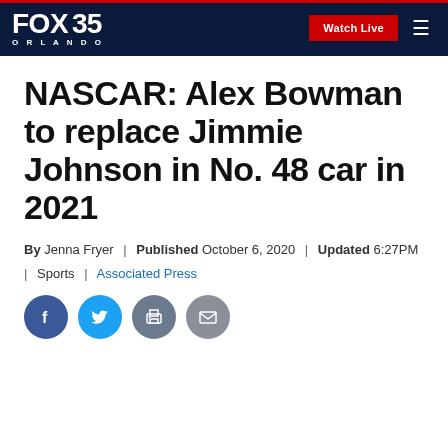FOX 35 ORLANDO | Watch Live
NASCAR: Alex Bowman to replace Jimmie Johnson in No. 48 car in 2021
By Jenna Fryer | Published October 6, 2020 | Updated 6:27PM | Sports | Associated Press
[Figure (other): Social sharing icons: Facebook, Twitter, Print, Email]